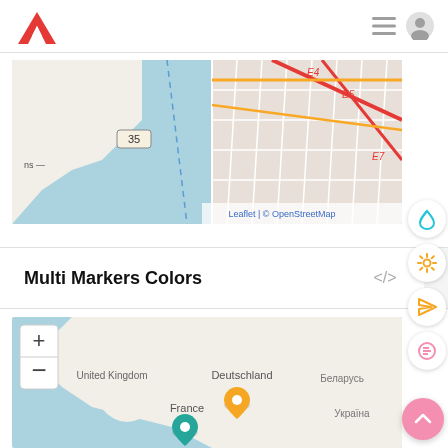Anychart logo and navigation header
[Figure (map): OpenStreetMap tile showing a coastal city with grid street layout, water area, highway E4, E5, E7 labels. Attribution: Leaflet | © OpenStreetMap]
Multi Markers Colors
[Figure (map): OpenStreetMap tile showing Europe with an orange marker on Deutschland and a teal marker on France. United Kingdom, Беларусь, Україна labels visible. Zoom +/- controls visible.]